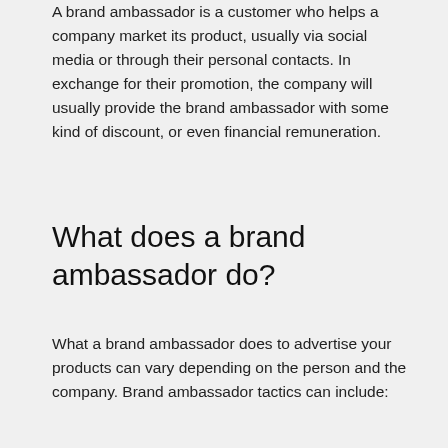A brand ambassador is a customer who helps a company market its product, usually via social media or through their personal contacts. In exchange for their promotion, the company will usually provide the brand ambassador with some kind of discount, or even financial remuneration.
What does a brand ambassador do?
What a brand ambassador does to advertise your products can vary depending on the person and the company. Brand ambassador tactics can include: